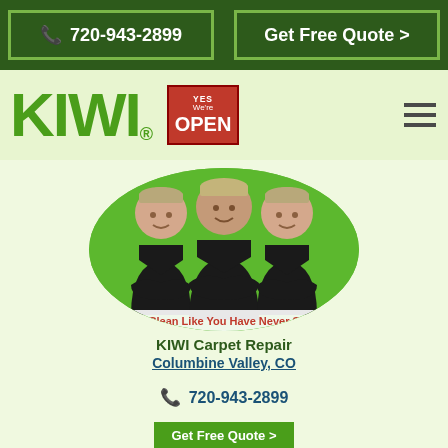📞 720-943-2899
Get Free Quote >
[Figure (logo): KIWI logo in bold green letters with registered trademark symbol]
[Figure (illustration): Red badge reading YES We're OPEN]
[Figure (photo): Three KIWI service workers in dark uniforms and caps posing with arms crossed inside a green oval]
We Clean Like You Have Never Seen
30 Days 100% Clean Carpet Guarantee
KIWI Carpet Repair
Columbine Valley, CO
📞 720-943-2899